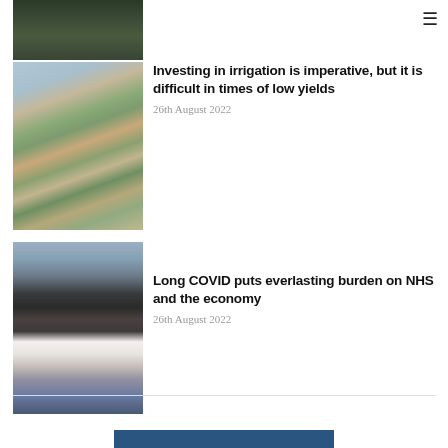☰
[Figure (photo): Partial aerial/nature photo visible at top of page]
[Figure (photo): Aerial view of agricultural fields with different colored crop sections]
Investing in irrigation is imperative, but it is difficult in times of low yields
26th August 2022
[Figure (photo): People in PPE suits and masks at what appears to be a COVID checkpoint or travel setting]
Long COVID puts everlasting burden on NHS and the economy
26th August 2022